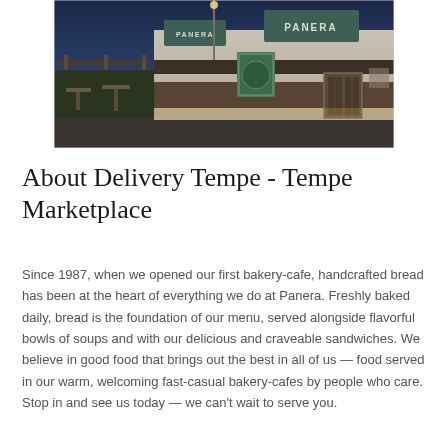[Figure (photo): Exterior photograph of a Panera Bread restaurant at dusk/night, showing the storefront with illuminated PANERA signs on a modern building facade with brick elements, outdoor seating area visible on the left, warm lighting from inside.]
About Delivery Tempe - Tempe Marketplace
Since 1987, when we opened our first bakery-cafe, handcrafted bread has been at the heart of everything we do at Panera. Freshly baked daily, bread is the foundation of our menu, served alongside flavorful bowls of soups and with our delicious and craveable sandwiches. We believe in good food that brings out the best in all of us — food served in our warm, welcoming fast-casual bakery-cafes by people who care. Stop in and see us today — we can't wait to serve you.